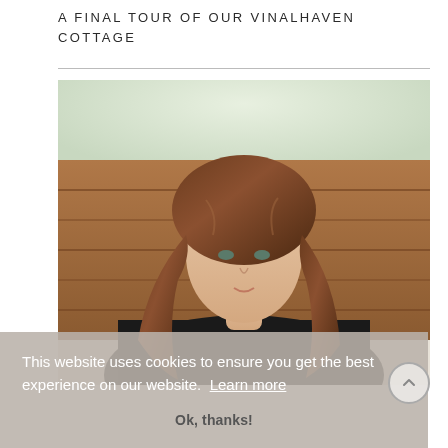A FINAL TOUR OF OUR VINALHAVEN COTTAGE
[Figure (photo): Portrait photo of a young woman with long wavy brown hair wearing a black sweater, seated in front of a wooden panel background, photographed from the waist up]
This website uses cookies to ensure you get the best experience on our website. Learn more
Ok, thanks!